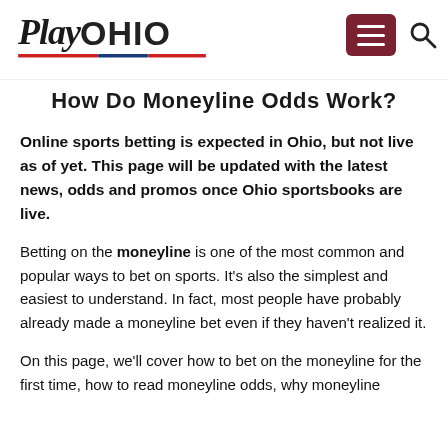PlayOHIO
How Do Moneyline Odds Work?
Online sports betting is expected in Ohio, but not live as of yet. This page will be updated with the latest news, odds and promos once Ohio sportsbooks are live.
Betting on the moneyline is one of the most common and popular ways to bet on sports. It's also the simplest and easiest to understand. In fact, most people have probably already made a moneyline bet even if they haven't realized it.
On this page, we'll cover how to bet on the moneyline for the first time, how to read moneyline odds, why moneyline